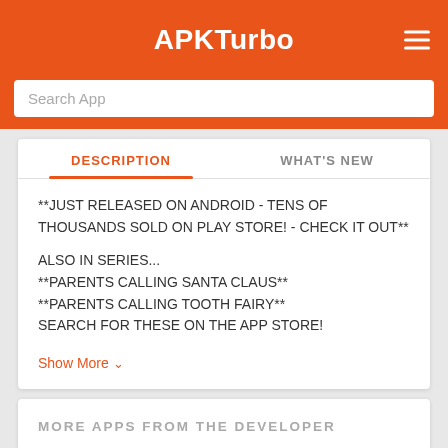APKTurbo
Search App
DESCRIPTION
WHAT'S NEW
**JUST RELEASED ON ANDROID - TENS OF THOUSANDS SOLD ON PLAY STORE! - CHECK IT OUT**

ALSO IN SERIES...
**PARENTS CALLING SANTA CLAUS**
**PARENTS CALLING TOOTH FAIRY**
SEARCH FOR THESE ON THE APP STORE!
Show More
MORE APPS FROM THE DEVELOPER